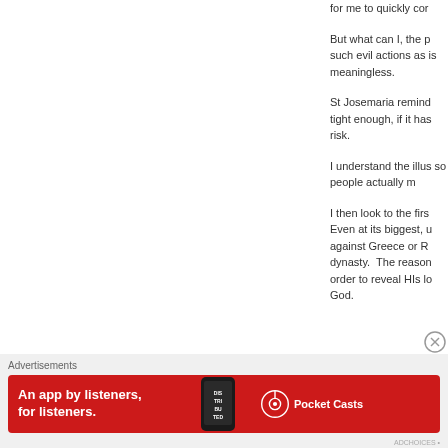for me to quickly cor
But what can I, the p such evil actions as is meaningless.
St Josemaria remind tight enough, if it has risk.
I understand the illus so people actually m
I then look to the firs Even at its biggest, u against Greece or R dynasty.  The reason order to reveal HIs lo God.
[Figure (screenshot): Pocket Casts advertisement banner: red background with text 'An app by listeners, for listeners.' and Pocket Casts logo with phone graphic]
Advertisements